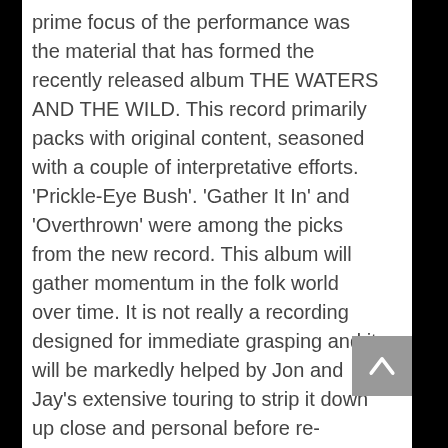prime focus of the performance was the material that has formed the recently released album THE WATERS AND THE WILD. This record primarily packs with original content, seasoned with a couple of interpretative efforts. 'Prickle-Eye Bush'. 'Gather It In' and 'Overthrown' were among the picks from the new record. This album will gather momentum in the folk world over time. It is not really a recording designed for immediate grasping and it will be markedly helped by Jon and Jay's extensive touring to strip it down up close and personal before re-building the worthy content.Two of the evening's outstanding moments were songs from a previous album, WHILE THE BLACKTHORN BURNS. 'Siege' was a heroic tale of English Civil War resistance, while 'Weeds' launched into a maybe mythical, or not, future where the land submerges human existence. Other subjects dealt with in the songs ranged from the Jurassic archaeological landscape of Dorset and the county's nautical heritage to acknowledging the importance of seasonal events and mythical hierarchies in the natural world. Of course, it would not be a folk gig